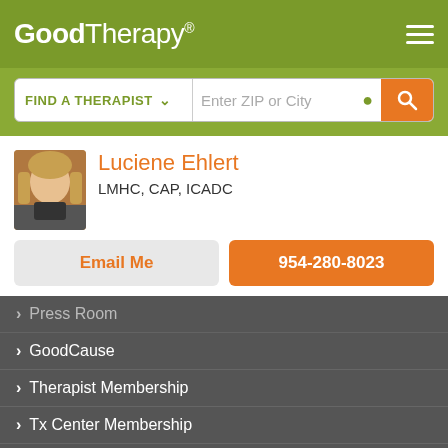GoodTherapy®
FIND A THERAPIST   Enter ZIP or City
Luciene Ehlert
LMHC, CAP, ICADC
Email Me
954-280-8023
Press Room
GoodCause
Therapist Membership
Tx Center Membership
Student Membership
GoodTherapy uses cookies to personalize content and ads to provide better services for our users and to analyze our traffic. By continuing to use this site you consent to our cookies.